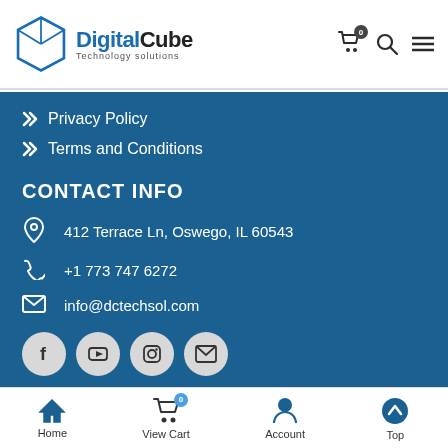[Figure (logo): Digital Cube Technology Solutions logo with blue cube icon and bold text]
Privacy Policy
Terms and Conditions
CONTACT INFO
412 Terrace Ln, Oswego, IL 60543
+1 773 747 6272
info@dctechsol.com
[Figure (infographic): Social media icons: Facebook, YouTube, Instagram, Email in circular grey buttons]
Home | View Cart (0) | Account | Top